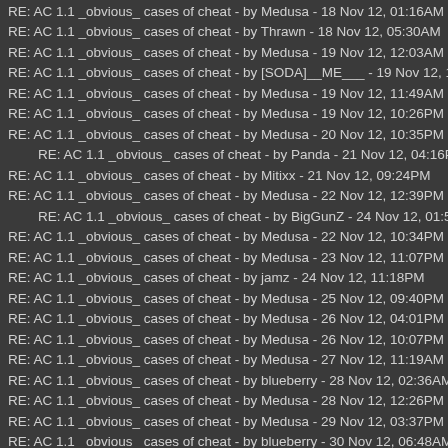RE: AC 1.1 _obvious_ cases of cheat - by Medusa - 18 Nov 12, 01:16AM
RE: AC 1.1 _obvious_ cases of cheat - by Thrawn - 18 Nov 12, 05:30AM
RE: AC 1.1 _obvious_ cases of cheat - by Medusa - 19 Nov 12, 12:03AM
RE: AC 1.1 _obvious_ cases of cheat - by [SODA]__ME___ - 19 Nov 12, 12:1
RE: AC 1.1 _obvious_ cases of cheat - by Medusa - 19 Nov 12, 11:49AM
RE: AC 1.1 _obvious_ cases of cheat - by Medusa - 19 Nov 12, 10:26PM
RE: AC 1.1 _obvious_ cases of cheat - by Medusa - 20 Nov 12, 10:35PM
RE: AC 1.1 _obvious_ cases of cheat - by Panda - 21 Nov 12, 04:16PM
RE: AC 1.1 _obvious_ cases of cheat - by Mitixx - 21 Nov 12, 09:24PM
RE: AC 1.1 _obvious_ cases of cheat - by Medusa - 22 Nov 12, 12:39PM
RE: AC 1.1 _obvious_ cases of cheat - by BigGunZ - 24 Nov 12, 01:57AM
RE: AC 1.1 _obvious_ cases of cheat - by Medusa - 22 Nov 12, 10:34PM
RE: AC 1.1 _obvious_ cases of cheat - by Medusa - 23 Nov 12, 11:07PM
RE: AC 1.1 _obvious_ cases of cheat - by jamz - 24 Nov 12, 11:18PM
RE: AC 1.1 _obvious_ cases of cheat - by Medusa - 25 Nov 12, 09:40PM
RE: AC 1.1 _obvious_ cases of cheat - by Medusa - 26 Nov 12, 04:01PM
RE: AC 1.1 _obvious_ cases of cheat - by Medusa - 26 Nov 12, 10:07PM
RE: AC 1.1 _obvious_ cases of cheat - by Medusa - 27 Nov 12, 11:19AM
RE: AC 1.1 _obvious_ cases of cheat - by blueberry - 28 Nov 12, 02:36AM
RE: AC 1.1 _obvious_ cases of cheat - by Medusa - 28 Nov 12, 12:26PM
RE: AC 1.1 _obvious_ cases of cheat - by Medusa - 29 Nov 12, 03:37PM
RE: AC 1.1 _obvious_ cases of cheat - by blueberry - 30 Nov 12, 06:48AM
RE: AC 1.1 _obvious_ cases of cheat - by Medusa - 30 Nov 12, 12:52PM
RE: AC 1.1 _obvious_ cases of cheat - by Medusa - 30 Nov 12, 10:48PM